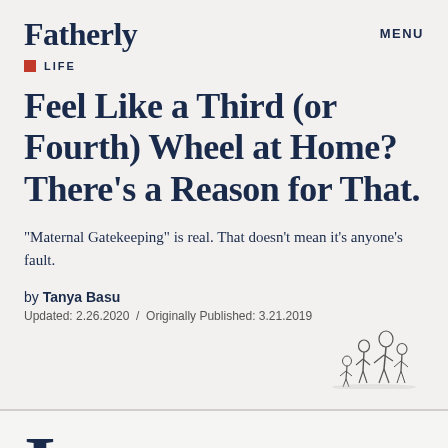Fatherly  MENU
LIFE
Feel Like a Third (or Fourth) Wheel at Home? There’s a Reason for That.
"Maternal Gatekeeping" is real. That doesn't mean it's anyone's fault.
by Tanya Basu
Updated: 2.26.2020  /  Originally Published: 3.21.2019
[Figure (illustration): Small illustration of a family group (children and adult figures) in a sketched style, positioned bottom-right]
t's one thing for dads to be jealous of fellow